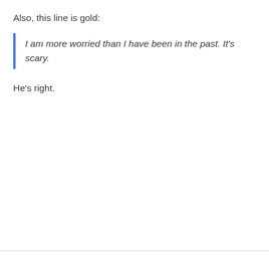Also, this line is gold:
I am more worried than I have been in the past. It's scary.
He's right.